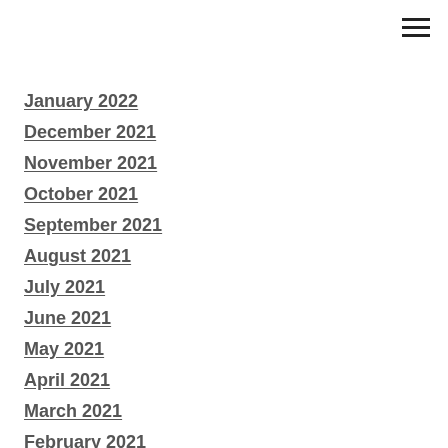January 2022
December 2021
November 2021
October 2021
September 2021
August 2021
July 2021
June 2021
May 2021
April 2021
March 2021
February 2021
January 2021
December 2020
November 2020
October 2020
September 2020